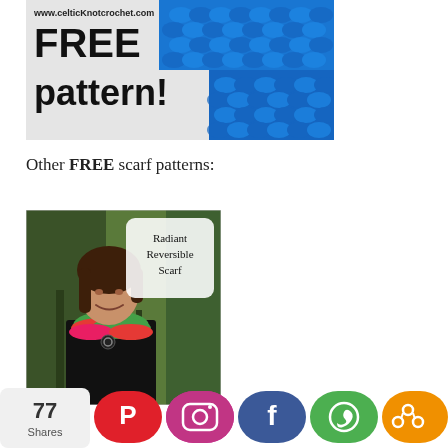[Figure (photo): Website banner with www.celticKnotcrochet.com header, FREE pattern! text on left and blue textured crochet fabric on right]
Other FREE scarf patterns:
[Figure (photo): Woman wearing a radiant reversible colorful crochet cowl scarf outdoors with trees in background. Label in upper right reads 'Radiant Reversible Scarf']
[Figure (infographic): Social sharing bar with share count 77 Shares, Pinterest (red), Instagram (gradient), Facebook (blue), WhatsApp (green), Share (orange) buttons]